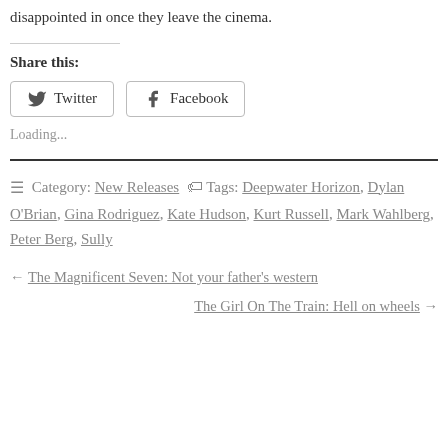disappointed in once they leave the cinema.
Share this:
Twitter  Facebook
Loading...
Category: New Releases  Tags: Deepwater Horizon, Dylan O'Brian, Gina Rodriguez, Kate Hudson, Kurt Russell, Mark Wahlberg, Peter Berg, Sully
← The Magnificent Seven: Not your father's western
The Girl On The Train: Hell on wheels →